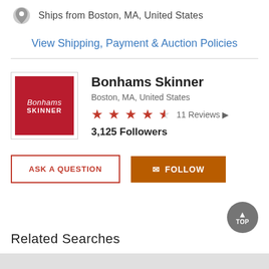Ships from Boston, MA, United States
View Shipping, Payment & Auction Policies
Bonhams Skinner
Boston, MA, United States
★★★★½  11 Reviews
3,125 Followers
ASK A QUESTION
✉ FOLLOW
Related Searches